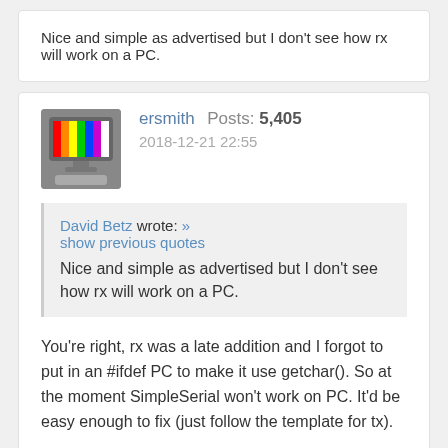Nice and simple as advertised but I don't see how rx will work on a PC.
ersmith   Posts: 5,405
2018-12-21 22:55
David Betz wrote: »
show previous quotes
Nice and simple as advertised but I don't see how rx will work on a PC.
You're right, rx was a late addition and I forgot to put in an #ifdef PC to make it use getchar(). So at the moment SimpleSerial won't work on PC. It'd be easy enough to fix (just follow the template for tx).

Actually it looks like rx is broken on P2 as well 😟. I'll have to take a look at that.